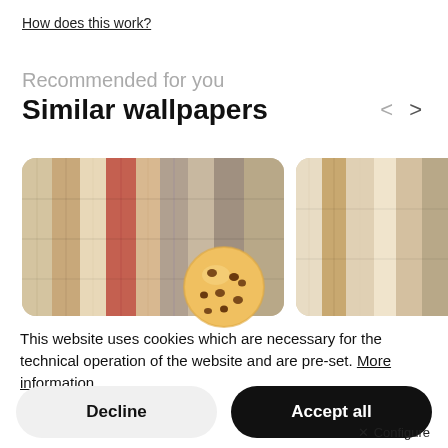How does this work?
Recommended for you
Similar wallpapers
[Figure (photo): A strip of similar wallpaper product images showing wood-plank textures in beige, red, and grey tones, partially overlaid by a cookie consent popup.]
[Figure (illustration): Cookie emoji icon — a round golden cookie with chocolate chips]
This website uses cookies which are necessary for the technical operation of the website and are pre-set. More information
Decline
Accept all
Configure